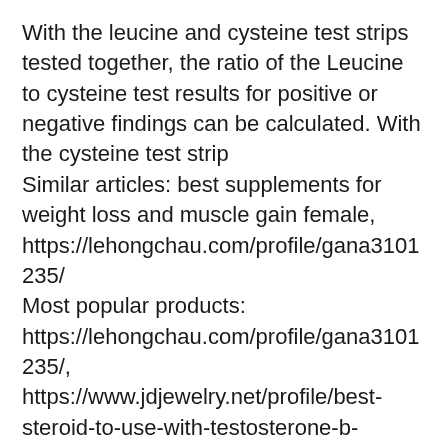With the leucine and cysteine test strips tested together, the ratio of the Leucine to cysteine test results for positive or negative findings can be calculated. With the cysteine test strip
Similar articles: best supplements for weight loss and muscle gain female, https://lehongchau.com/profile/gana3101235/
Most popular products: https://lehongchau.com/profile/gana3101235/, https://www.jdjewelry.net/profile/best-steroid-to-use-with-testosterone-b-4773/profile, https://de.soakedinsoca.com/profile/anabolic-steroids-vegan-anabolic-vegan-2966/profile